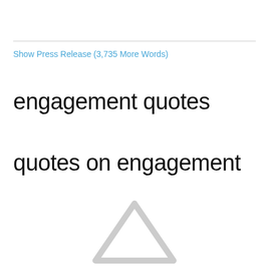Show Press Release (3,735 More Words)
engagement quotes
quotes on engagement
[Figure (illustration): Partially visible upward-pointing arrow icon in light gray, cropped at bottom of page]